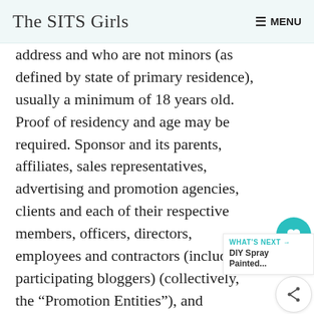The SITS Girls  ≡ MENU
address and who are not minors (as defined by state of primary residence), usually a minimum of 18 years old. Proof of residency and age may be required. Sponsor and its parents, affiliates, sales representatives, advertising and promotion agencies, clients and each of their respective members, officers, directors, employees and contractors (including participating bloggers) (collectively, the “Promotion Entities”), and members of their immediate families and/or persons living in the same household as such persons, are ineligible to enter the Sw[eepstakes or] win a prize. Void in all jurisdictions other than the 50 United States or the District of Columbia, and
[Figure (other): Heart icon button (teal circle) with count 155 and share icon button below]
WHAT'S NEXT → DIY Spray Painted...